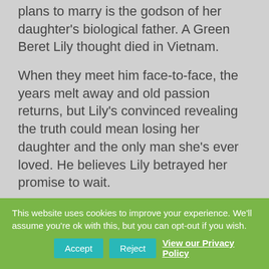plans to marry is the godson of her daughter's biological father. A Green Beret Lily thought died in Vietnam.
When they meet him face-to-face, the years melt away and old passion returns, but Lily's convinced revealing the truth could mean losing her daughter and the only man she's ever loved. He believes Lily betrayed her promise to wait.
Is the flame of love strong enough to be re-ignited, or, is it too late?
This website uses cookies to improve your experience. We'll assume you're ok with this, but you can opt-out if you wish. Accept Reject View our Privacy Policy